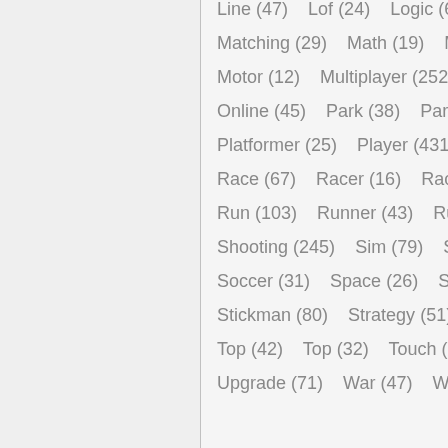Line (47)   Lof (24)   Logic (60+)
Matching (29)   Math (19)   M...
Motor (12)   Multiplayer (252)
Online (45)   Park (38)   Park...
Platformer (25)   Player (431)
Race (67)   Racer (16)   Raci...
Run (103)   Runner (43)   Ru...
Shooting (245)   Sim (79)   Si...
Soccer (31)   Space (26)   Sp...
Stickman (80)   Strategy (51)
Top (42)   Top (32)   Touch (2...)
Upgrade (71)   War (47)   W...